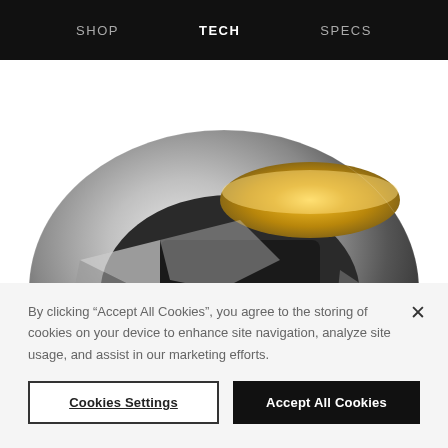SHOP  TECH  SPECS
[Figure (photo): 3D cutaway render of a round metallic speaker driver component showing internal mechanics including gold membrane, silver housing, and metallic bolts/screws on a reflective silver base]
By clicking “Accept All Cookies”, you agree to the storing of cookies on your device to enhance site navigation, analyze site usage, and assist in our marketing efforts.
Cookies Settings
Accept All Cookies